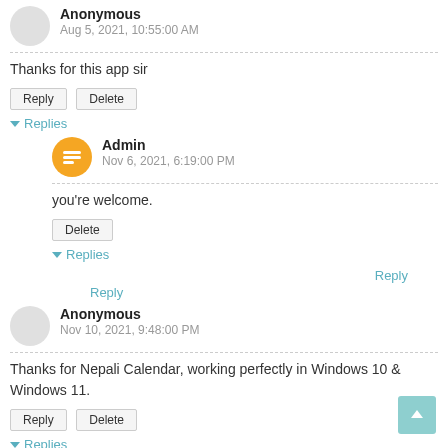Anonymous
Aug 5, 2021, 10:55:00 AM
Thanks for this app sir
Reply  Delete
▾ Replies
Admin
Nov 6, 2021, 6:19:00 PM
you're welcome.
Delete
▾ Replies
Reply
Reply
Anonymous
Nov 10, 2021, 9:48:00 PM
Thanks for Nepali Calendar, working perfectly in Windows 10 & Windows 11.
Reply  Delete
▾ Replies